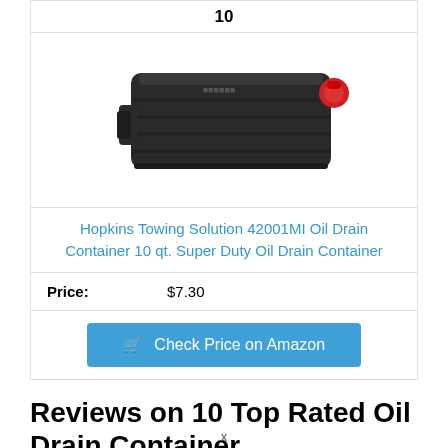10
[Figure (photo): Black plastic oil drain container with red cap on the right side, viewed from the side.]
Hopkins Towing Solution 42001MI Oil Drain Container 10 qt. Super Duty Oil Drain Container
Price: $7.30
Check Price on Amazon
Reviews on 10 Top Rated Oil Drain Container